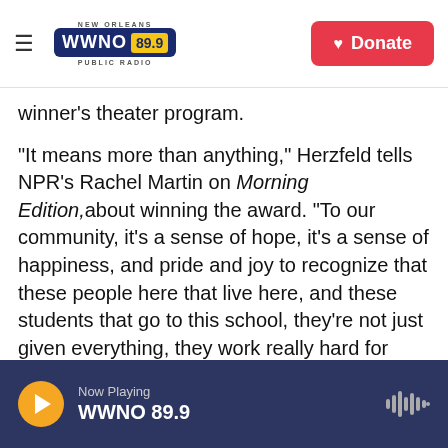WWNO 89.9 New Orleans Public Radio — Donate
winner's theater program.
"It means more than anything," Herzfeld tells NPR's Rachel Martin on Morning Edition, about winning the award. "To our community, it's a sense of hope, it's a sense of happiness, and pride and joy to recognize that these people here that live here, and these students that go to this school, they're not just given everything, they work really hard for what they have, and to be recognized by such a special organization that doesn't just give stuff away, it's very meaningful to the whole community here."
Now Playing WWNO 89.9